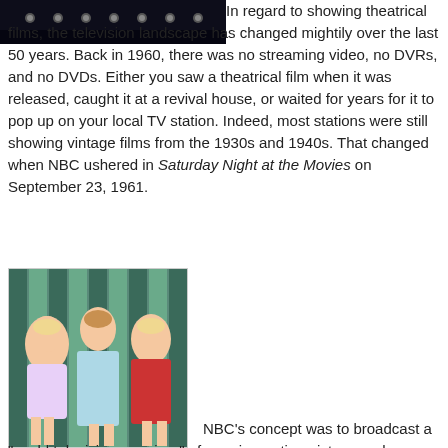[Figure (photo): Dark image at top showing stage lights or marquee lights against a dark background]
In regard to showing theatrical films, the television landscape has changed mightily over the last 50 years. Back in 1960, there was no streaming video, no DVRs, and no DVDs. Either you saw a theatrical film when it was released, caught it at a revival house, or waited for years for it to pop up on your local TV station. Indeed, most stations were still showing vintage films from the 1930s and 1940s. That changed when NBC ushered in Saturday Night at the Movies on September 23, 1961.
[Figure (photo): Color photo of three women posing together, one in a light blue dress, one in a red outfit, period clothing suggesting 1950s-1960s era]
NBC's concept was to broadcast a "world television premiere" of a major motion picture each